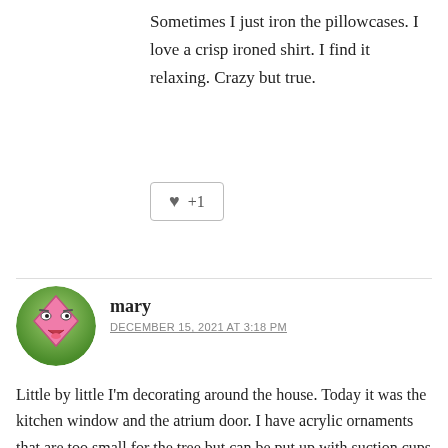Sometimes I just iron the pillowcases. I love a crisp ironed shirt. I find it relaxing. Crazy but true.
[Figure (other): A like/+1 button with a heart icon and '+1' text, bordered rectangle]
mary
DECEMBER 15, 2021 AT 3:18 PM
Little by little I'm decorating around the house. Today it was the kitchen window and the atrium door. I have acrylic ornaments that are too small for the tree but can be put up with suction cups and small red bows. Cute! This is the first year I noticed that I must be getting shorter. I had to use a step